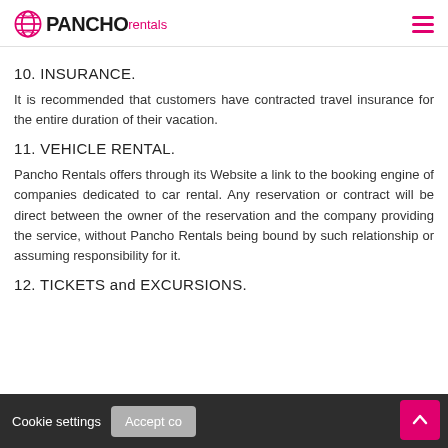PANCHO rentals
10. INSURANCE.
It is recommended that customers have contracted travel insurance for the entire duration of their vacation.
11. VEHICLE RENTAL.
Pancho Rentals offers through its Website a link to the booking engine of companies dedicated to car rental. Any reservation or contract will be direct between the owner of the reservation and the company providing the service, without Pancho Rentals being bound by such relationship or assuming responsibility for it.
12. TICKETS and EXCURSIONS.
Cookie settings  Accept co